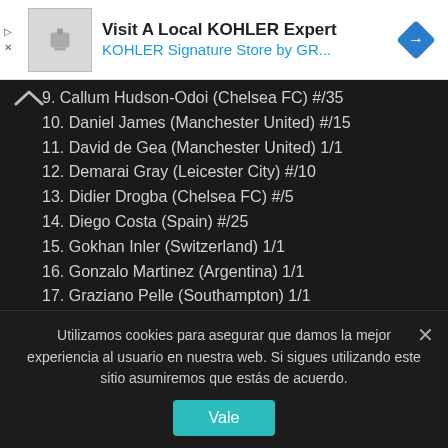[Figure (other): KOHLER advertisement banner with product image and navigation arrow icon. Text: Visit A Local KOHLER Expert / KOHLER Signature Store by GR...]
9. Callum Hudson-Odoi (Chelsea FC) #/35
10. Daniel James (Manchester United) #/15
11. David de Gea (Manchester United) 1/1
12. Demarai Gray (Leicester City) #/10
13. Didier Drogba (Chelsea FC) #/5
14. Diego Costa (Spain) #/25
15. Gokhan Inler (Switzerland) 1/1
16. Gonzalo Martinez (Argentina) 1/1
17. Graziano Pelle (Southampton) 1/1
18. Grzegorz Krychowiak (Paris Saint-Germain) 1/1
Utilizamos cookies para asegurar que damos la mejor experiencia al usuario en nuestra web. Si sigues utilizando este sitio asumiremos que estás de acuerdo.
Vale